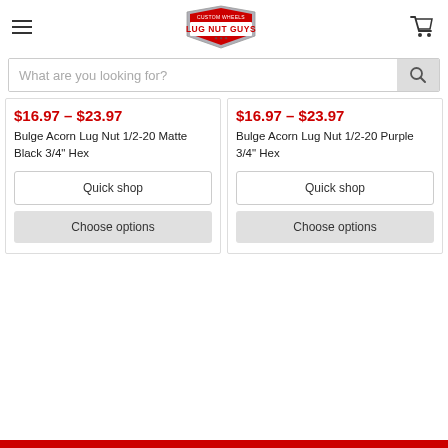Lug Nut Guys - Custom Wheels
What are you looking for?
$16.97 - $23.97
Bulge Acorn Lug Nut 1/2-20 Matte Black 3/4" Hex
Quick shop
Choose options
$16.97 - $23.97
Bulge Acorn Lug Nut 1/2-20 Purple 3/4" Hex
Quick shop
Choose options